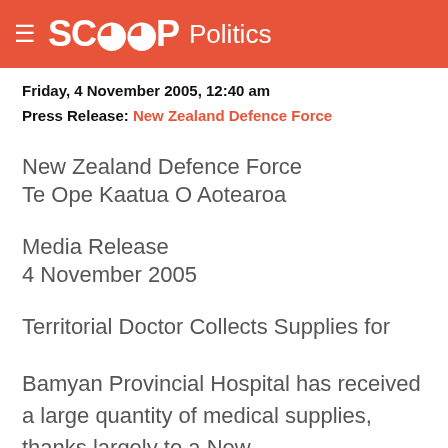SCOOP Politics
Friday, 4 November 2005, 12:40 am
Press Release: New Zealand Defence Force
New Zealand Defence Force
Te Ope Kaatua O Aotearoa
Media Release
4 November 2005
Territorial Doctor Collects Supplies for
Bamyan Provincial Hospital has received a large quantity of medical supplies, thanks largely to a New